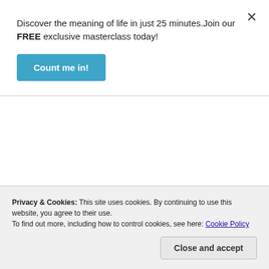Discover the meaning of life in just 25 minutes.Join our FREE exclusive masterclass today!
Count me in!
approved unto God, a workman that needeth not to be ashamed, rightly dividing the word of truth.
Yeah, Easter is Pagan so are all holidays and celebration's of man, and Easter is mentioned in the King James, there's a few things up top falsified, Jesus was
Privacy & Cookies: This site uses cookies. By continuing to use this website, you agree to their use.
To find out more, including how to control cookies, see here: Cookie Policy
Close and accept
most what their own beliefs' of man, they